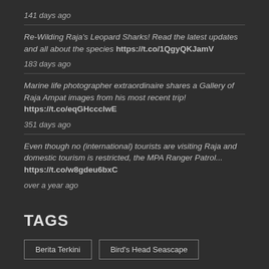141 days ago
Re-Wilding Raja's Leopard Sharks! Read the latest updates and all about the species https://t.co/1QgyQKJamV
183 days ago
Marine life photographer extraordinaire shares a Gallery of Raja Ampat images from his most recent trip! https://t.co/eqGHccclwE
351 days ago
Even though no (international) tourists are visiting Raja and domestic tourism is restricted, the MPA Ranger Patrol... https://t.co/w8gdeu6bxC
over a year ago
TAGS
Berita Terkini
Bird's Head Seascape